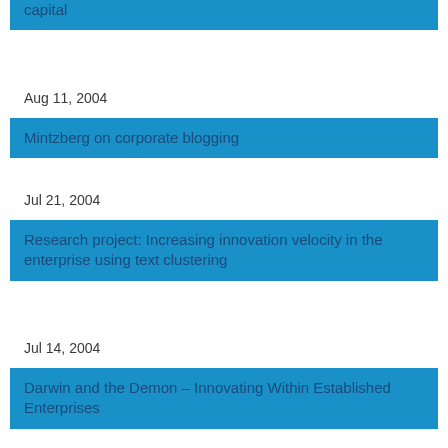capital
Aug 11, 2004
Mintzberg on corporate blogging
Jul 21, 2004
Research project&#58; Increasing innovation velocity in the enterprise using text clustering
Jul 14, 2004
Darwin and the Demon – Innovating Within Established Enterprises